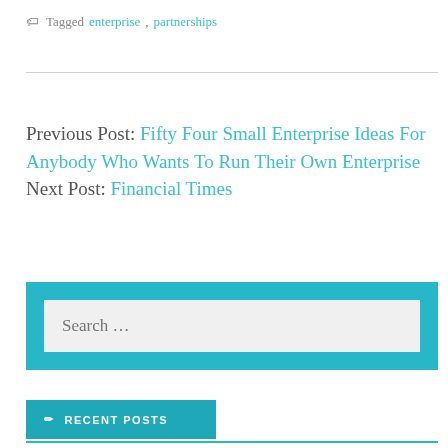Tagged enterprise, partnerships
Previous Post: Fifty Four Small Enterprise Ideas For Anybody Who Wants To Run Their Own Enterprise
Next Post: Financial Times
Search ...
RECENT POSTS